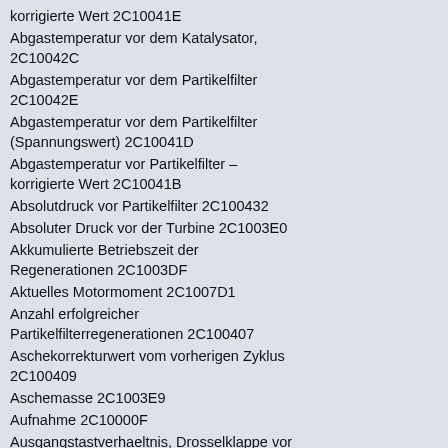korrigierte Wert 2C10041E
Abgastemperatur vor dem Katalysator, 2C10042C
Abgastemperatur vor dem Partikelfilter 2C10042E
Abgastemperatur vor dem Partikelfilter (Spannungswert) 2C10041D
Abgastemperatur vor Partikelfilter – korrigierte Wert 2C10041B
Absolutdruck vor Partikelfilter 2C100432
Absoluter Druck vor der Turbine 2C1003E0
Akkumulierte Betriebszeit der Regenerationen 2C1003DF
Aktuelles Motormoment 2C1007D1
Anzahl erfolgreicher Partikelfilterregenerationen 2C100407
Aschekorrekturwert vom vorherigen Zyklus 2C100409
Aschemasse 2C1003E9
Aufnahme 2C10000F
Ausgangstastverhaeltnis, Drosselklappe vor Korrektur 2C100011
Basis-Ladedruck-Sollwert 2C1001E7